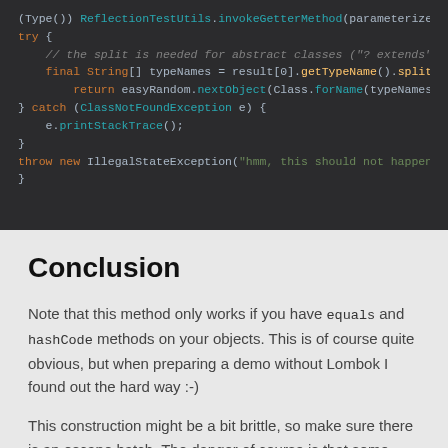[Figure (screenshot): Dark-themed Java code block showing try-catch block with ClassNotFoundException handling and throw new IllegalStateException]
Conclusion
Note that this method only works if you have equals and hashCode methods on your objects. This is of course quite obvious, but when preparing a demo without Lombok I found out the hard way :-)
This construction might be a bit brittle, so make sure there is an escape hatch. The danger of course is that some people will take the easy way out, so be sure your code review process is in order